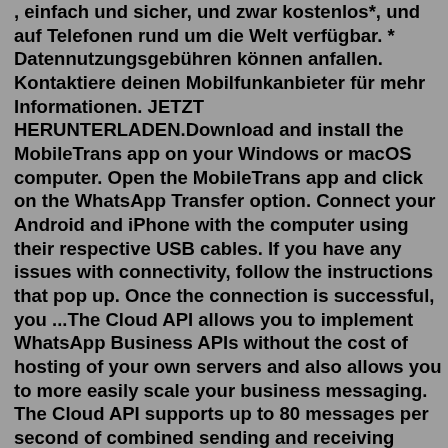, einfach und sicher, und zwar kostenlos*, und auf Telefonen rund um die Welt verfügbar. * Datennutzungsgebühren können anfallen. Kontaktiere deinen Mobilfunkanbieter für mehr Informationen. JETZT HERUNTERLADEN.Download and install the MobileTrans app on your Windows or macOS computer. Open the MobileTrans app and click on the WhatsApp Transfer option. Connect your Android and iPhone with the computer using their respective USB cables. If you have any issues with connectivity, follow the instructions that pop up. Once the connection is successful, you ...The Cloud API allows you to implement WhatsApp Business APIs without the cost of hosting of your own servers and also allows you to more easily scale your business messaging. The Cloud API supports up to 80 messages per second of combined sending and receiving (inclusive of text and media messages). If you are a developer who wants direct ... WhatsApp uses your phone's Internet